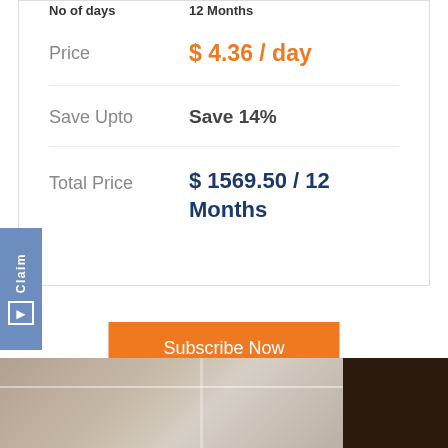No of days  12 Months
Price  $ 4.36 / day
Save Upto  Save 14%
Total Price  $ 1569.50 / 12 Months
Claim
Subscribe Now
[Figure (photo): Bottom portion of page showing a room interior with white walls and a dark wooden panel or door on the right side]